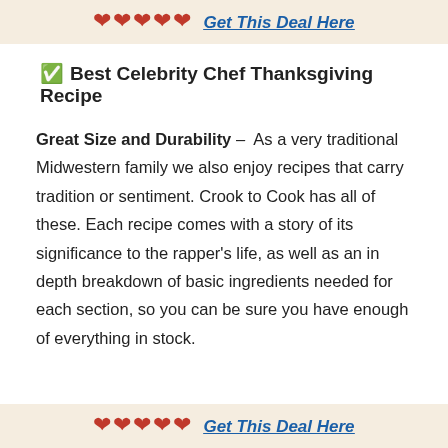❤❤❤❤❤ Get This Deal Here
✅ Best Celebrity Chef Thanksgiving Recipe
Great Size and Durability – As a very traditional Midwestern family we also enjoy recipes that carry tradition or sentiment. Crook to Cook has all of these. Each recipe comes with a story of its significance to the rapper's life, as well as an in depth breakdown of basic ingredients needed for each section, so you can be sure you have enough of everything in stock.
❤❤❤❤❤ Get This Deal Here